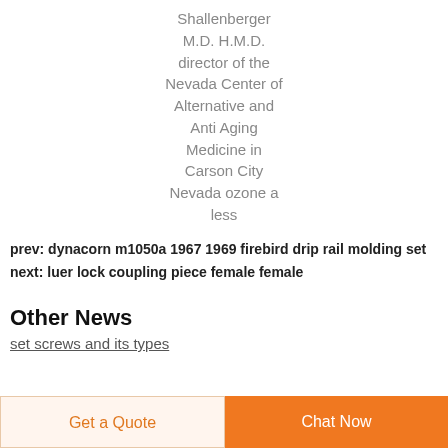Shallenberger M.D. H.M.D. director of the Nevada Center of Alternative and Anti Aging Medicine in Carson City Nevada ozone a less
prev: dynacorn m1050a 1967 1969 firebird drip rail molding set
next: luer lock coupling piece female female
Other News
set screws and its types